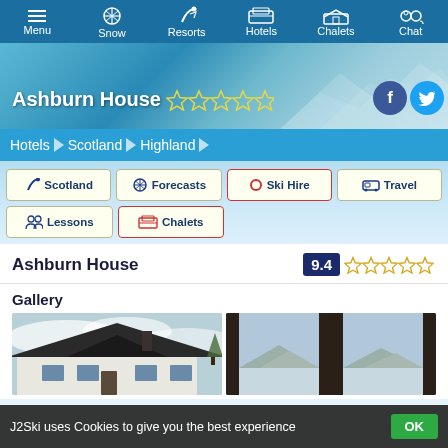Menu | Snow | Resorts | Hotels | Chalets | Chat
Ashburn House ★★★★
[Figure (screenshot): Hero background image with snowy mountain scenery. Facebook and Twitter social icons visible top right.]
Hotels > Scotland > Highland
Scotland
Forecasts
Ski Hire
Travel
Lessons
Chalets
Ashburn House   9.4 ☆☆☆☆
Gallery
[Figure (photo): Two gallery photos of Ashburn House — exterior showing a white building with dark roof against cloudy sky, and interior/window view showing mountain scenery through windows.]
J2Ski uses Cookies to give you the best experience  OK